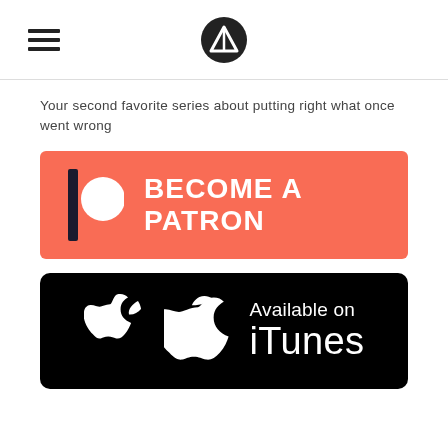[Figure (logo): Hamburger menu icon (three horizontal lines) on the left and a circular logo with a triangle/arrow symbol in the center, forming a website header]
Your second favorite series about putting right what once went wrong
[Figure (infographic): Patreon 'Become a Patron' button — coral/salmon background with Patreon logo (vertical bar and circle) on the left and bold white text 'BECOME A PATRON' on the right]
[Figure (infographic): Apple iTunes 'Available on iTunes' badge — black rounded rectangle with white Apple logo on the left and white text 'Available on iTunes' on the right]